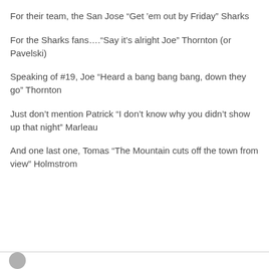For their team, the San Jose “Get ’em out by Friday” Sharks
For the Sharks fans….“Say it’s alright Joe” Thornton (or Pavelski)
Speaking of #19, Joe “Heard a bang bang bang, down they go” Thornton
Just don’t mention Patrick “I don’t know why you didn’t show up that night” Marleau
And one last one, Tomas “The Mountain cuts off the town from view” Holmstrom